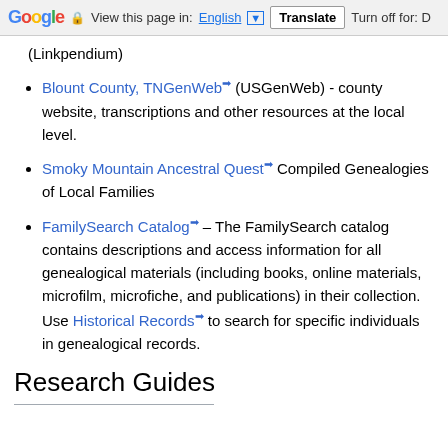Google  View this page in: English [▼]  Translate  Turn off for: D
(Linkpendium)
Blount County, TNGenWeb [ext] (USGenWeb) - county website, transcriptions and other resources at the local level.
Smoky Mountain Ancestral Quest [ext] Compiled Genealogies of Local Families
FamilySearch Catalog [ext] – The FamilySearch catalog contains descriptions and access information for all genealogical materials (including books, online materials, microfilm, microfiche, and publications) in their collection.  Use Historical Records [ext] to search for specific individuals in genealogical records.
Research Guides